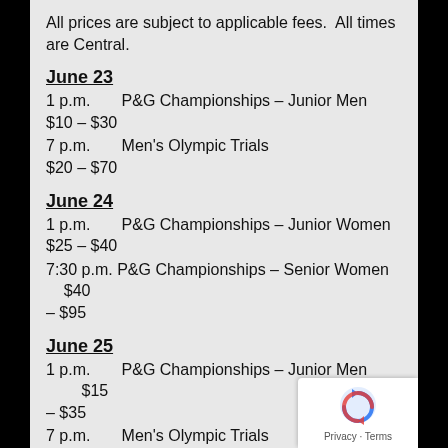All prices are subject to applicable fees. All times are Central.
June 23
1 p.m.      P&G Championships – Junior Men
$10 – $30
7 p.m.      Men's Olympic Trials
$20 – $70
June 24
1 p.m.      P&G Championships – Junior Women
$25 – $40
7:30 p.m. P&G Championships – Senior Women   $40 – $95
June 25
1 p.m.      P&G Championships – Junior Men        $15 – $35
7 p.m.      Men's Olympic Trials
– $75